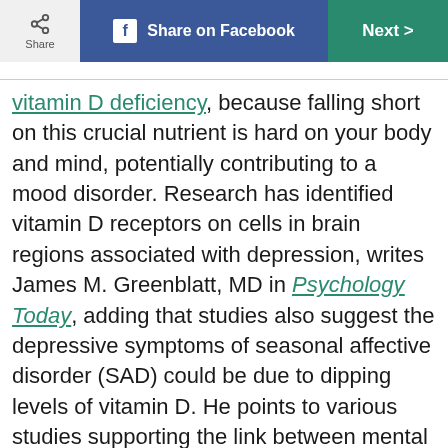Share | Share on Facebook | Next
vitamin D deficiency, because falling short on this crucial nutrient is hard on your body and mind, potentially contributing to a mood disorder. Research has identified vitamin D receptors on cells in brain regions associated with depression, writes James M. Greenblatt, MD in Psychology Today, adding that studies also suggest the depressive symptoms of seasonal affective disorder (SAD) could be due to dipping levels of vitamin D. He points to various studies supporting the link between mental illness and D deficiency, including research from the Netherlands that found